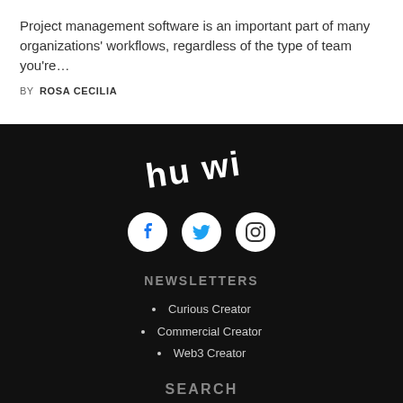Project management software is an important part of many organizations' workflows, regardless of the type of team you're…
BY ROSA CECILIA
[Figure (logo): Partial logo text reading 'hu wi' in a stylized white font on dark background]
[Figure (infographic): Three social media icon circles: Facebook, Twitter, Instagram]
NEWSLETTERS
Curious Creator
Commercial Creator
Web3 Creator
SEARCH